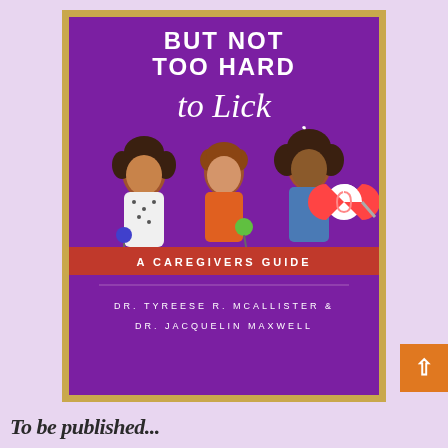[Figure (illustration): Book cover on lavender background with gold border. Purple background with white bold text reading 'BUT NOT TOO HARD to Lick', a red banner reading 'A CAREGIVERS GUIDE', three children holding lollipops, and authors 'DR. TYREESE R. MCALLISTER & DR. JACQUELIN MAXWELL']
To be published...